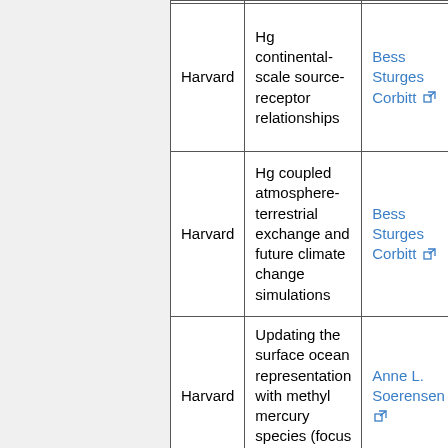| Institution | Description | Contact |
| --- | --- | --- |
| Harvard | Hg continental-scale source-receptor relationships | Bess Sturges Corbitt |
| Harvard | Hg coupled atmosphere-terrestrial exchange and future climate change simulations | Bess Sturges Corbitt |
| Harvard | Updating the surface ocean representation with methyl mercury species (focus on the Arctic) | Anne L. Soerensen |